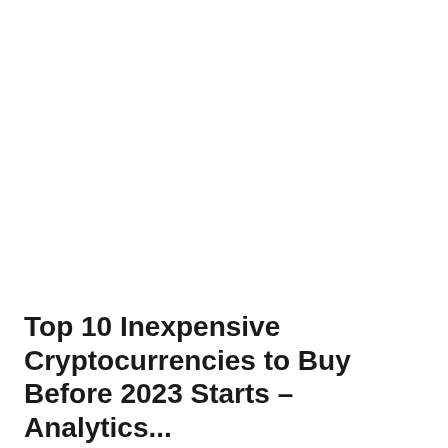Top 10 Inexpensive Cryptocurrencies to Buy Before 2023 Starts – Analytics...
Deidre Richardson  -  September 1, 2022
source